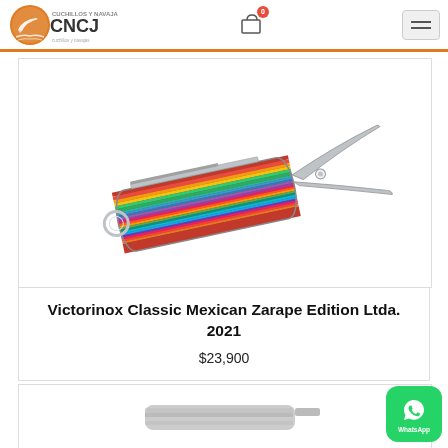CNCJ - Cuchillos y Navajas
[Figure (photo): Victorinox Classic Swiss Army knife with colorful Mexican zarape-pattern handle, open showing scissors and blade, on white background]
Victorinox Classic Mexican Zarape Edition Ltda. 2021
$23,900
[Figure (photo): Partial view of another knife product card at bottom of page]
[Figure (logo): WhatsApp floating action button, green with WhatsApp icon and text 'WhatsApp']